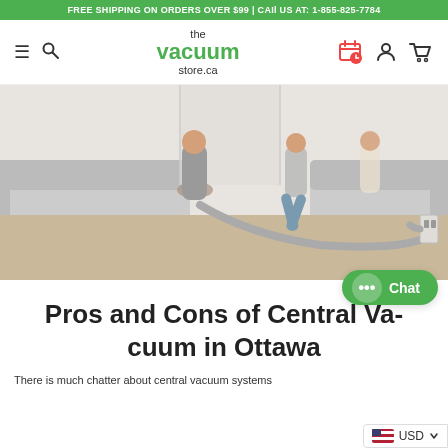FREE SHIPPING ON ORDERS OVER $99 | CALL US AT: 1-855-825-7784
[Figure (logo): The Vacuum Store logo with hamburger menu, search icon, and navigation icons]
[Figure (photo): A family vacuuming a living room with a central vacuum hose attached to a wall outlet. Two people visible, modern home interior.]
Pros and Cons of Central Vacuum in Ottawa
There is much chatter about central vacuum systems